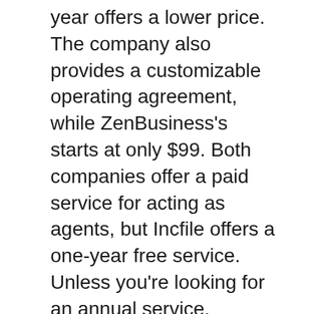year offers a lower price. The company also provides a customizable operating agreement, while ZenBusiness’s starts at only $99. Both companies offer a paid service for acting as agents, but Incfile offers a one-year free service. Unless you’re looking for an annual service, ZenBusiness can cost you $119 per year. However, some entrepreneurs might find it more convenient to hire a registered agent elsewhere.
While ZenBusiness’ growth is impressive, Incfile has been around for years, and their customer service is second to none. With over half a million happy customers and glowing reviews, Incfile is a solid choice. Remember that every penny counts in modern society so you don’t need to spend a